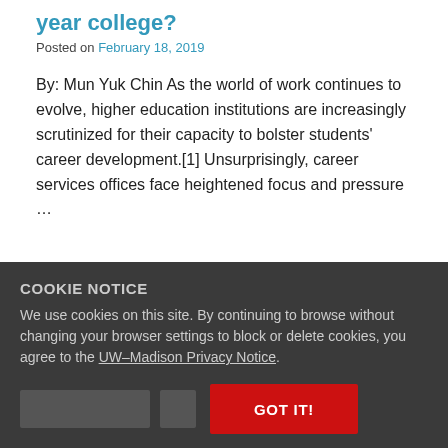year college?
Posted on February 18, 2019
By: Mun Yuk Chin As the world of work continues to evolve, higher education institutions are increasingly scrutinized for their capacity to bolster students' career development.[1] Unsurprisingly, career services offices face heightened focus and pressure …
COOKIE NOTICE
We use cookies on this site. By continuing to browse without changing your browser settings to block or delete cookies, you agree to the UW–Madison Privacy Notice.